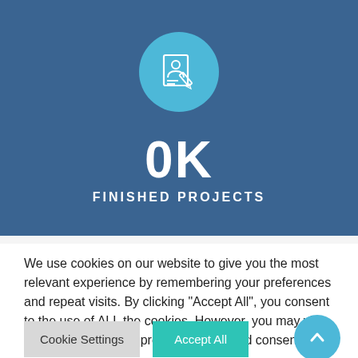[Figure (infographic): Blue banner with circular icon showing a document/registration form with a person and pencil, displaying stat: 0K Finished Projects]
0K
FINISHED PROJECTS
We use cookies on our website to give you the most relevant experience by remembering your preferences and repeat visits. By clicking "Accept All", you consent to the use of ALL the cookies. However, you may visit "Cookie Settings" to provide a controlled consent.